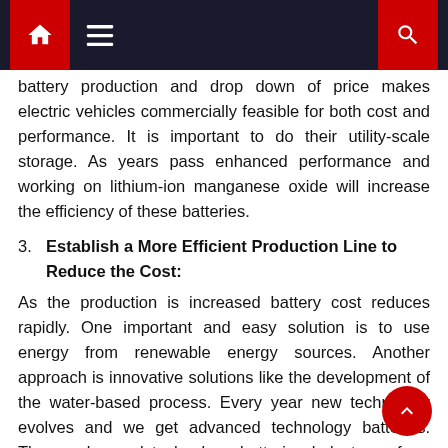Navigation bar with home, menu, and search icons
battery production and drop down of price makes electric vehicles commercially feasible for both cost and performance. It is important to do their utility-scale storage. As years pass enhanced performance and working on lithium-ion manganese oxide will increase the efficiency of these batteries.
3. Establish a More Efficient Production Line to Reduce the Cost:
As the production is increased battery cost reduces rapidly. One important and easy solution is to use energy from renewable energy sources. Another approach is innovative solutions like the development of the water-based process. Every year new technology evolves and we get advanced technology batteries. These advanced technology batteries help to perform faster as compared to earlier. We are able